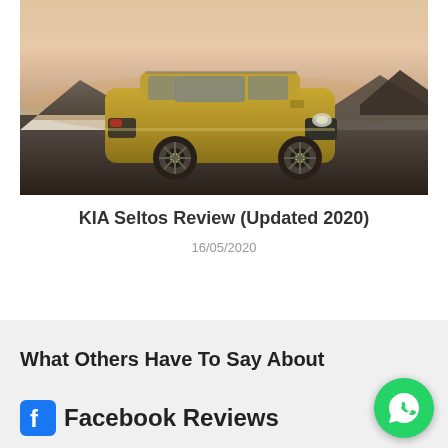[Figure (photo): KIA Seltos SUV in gold/yellow color parked on a road with mountains and water in background at dusk/sunset]
KIA Seltos Review (Updated 2020)
16/05/2020
What Others Have To Say About
Facebook Reviews